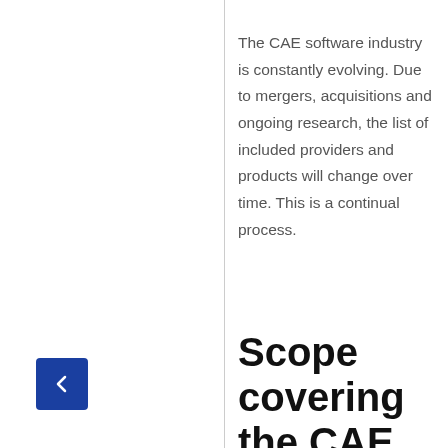The CAE software industry is constantly evolving. Due to mergers, acquisitions and ongoing research, the list of included providers and products will change over time. This is a continual process.
Scope covering the CAE Market